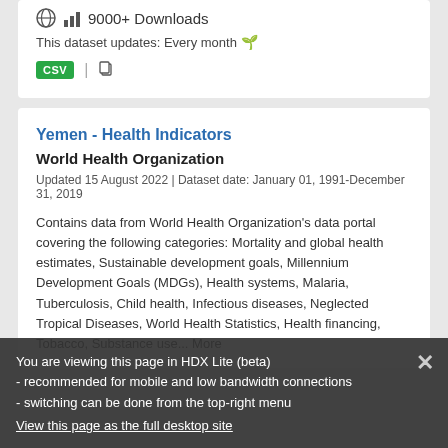9000+ Downloads
This dataset updates: Every month
CSV
Yemen - Health Indicators
World Health Organization
Updated 15 August 2022 | Dataset date: January 01, 1991-December 31, 2019
Contains data from World Health Organization's data portal covering the following categories: Mortality and global health estimates, Sustainable development goals, Millennium Development Goals (MDGs), Health systems, Malaria, Tuberculosis, Child health, Infectious diseases, Neglected Tropical Diseases, World Health Statistics, Health financing, Tobacco, Substance use... More
You are viewing this page in HDX Lite (beta)
- recommended for mobile and low bandwidth connections
- switching can be done from the top-right menu
View this page as the full desktop site